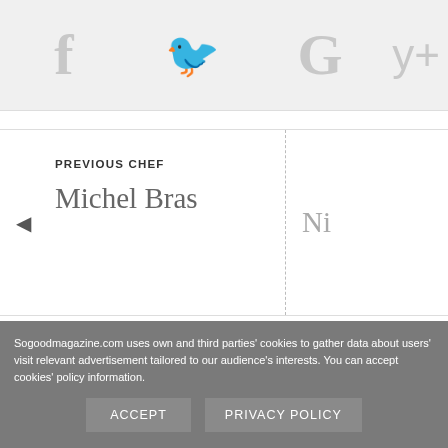[Figure (other): Social media icons bar showing Facebook (f), Twitter (bird), Google (G), and another icon on light gray background]
PREVIOUS CHEF
Michel Bras
Ni
◄ Back to Chefs
Sogoodmagazine.com uses own and third parties' cookies to gather data about users' visit relevant advertisement tailored to our audience's interests. You can accept cookies' policy information.
ACCEPT
PRIVACY POLICY